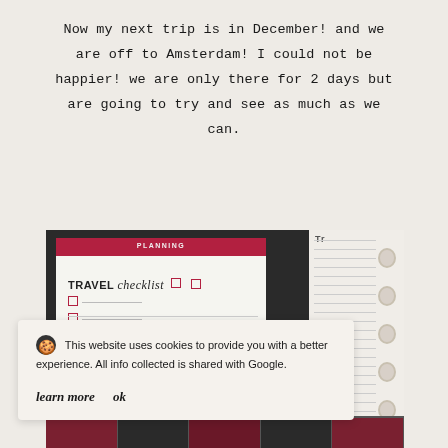Now my next trip is in December! and we are off to Amsterdam! I could not be happier! we are only there for 2 days but are going to try and see as much as we can.
[Figure (photo): Photo of a travel planning binder/planner open to a 'TRAVEL checklist' page with a red header reading PLANNING, checkboxes, and lined pages. A spiral ring binder is visible on the right side.]
This website uses cookies to provide you with a better experience. All info collected is shared with Google.
learn more   ok